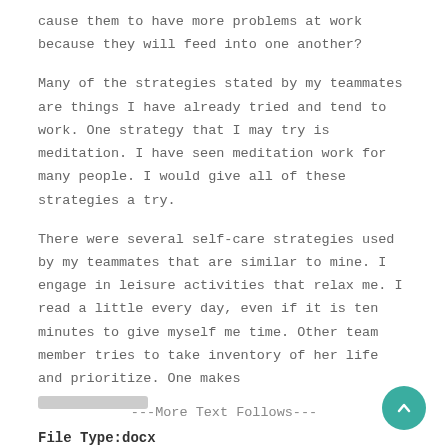cause them to have more problems at work because they will feed into one another?
Many of the strategies stated by my teammates are things I have already tried and tend to work. One strategy that I may try is meditation. I have seen meditation work for many people. I would give all of these strategies a try.
There were several self-care strategies used by my teammates that are similar to mine. I engage in leisure activities that relax me. I read a little every day, even if it is ten minutes to give myself me time. Other team member tries to take inventory of her life and prioritize. One makes [redacted]
File Type:docx
---More Text Follows---